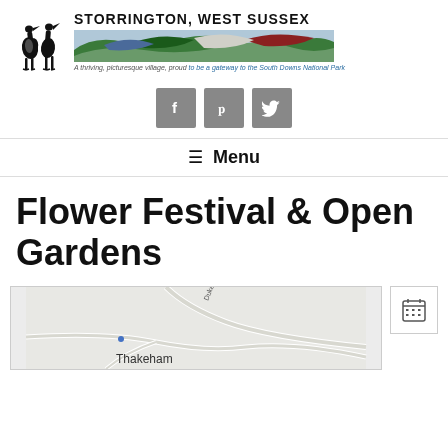STORRINGTON, WEST SUSSEX — A thriving, picturesque village, proud to be a gateway to the South Downs National Park
[Figure (logo): Two stork silhouettes logo with village name, landscape banner and tagline]
[Figure (infographic): Social media buttons: Facebook, Pinterest, Twitter]
≡ Menu
Flower Festival & Open Gardens
[Figure (map): Map showing Thakeham area with road markings including Duke's road]